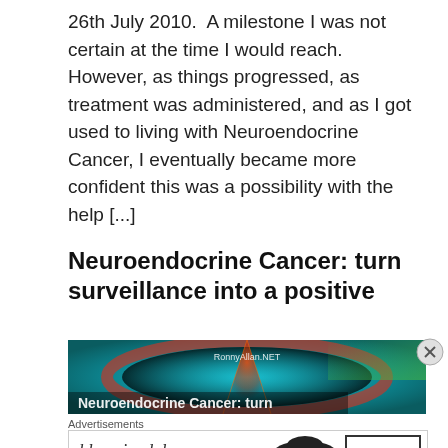26th July 2010.  A milestone I was not certain at the time I would reach.  However, as things progressed, as treatment was administered, and as I got used to living with Neuroendocrine Cancer, I eventually became more confident this was a possibility with the help [...]
Neuroendocrine Cancer: turn surveillance into a positive
[Figure (photo): MRI or CT scanner tunnel image with red laser light and blue glow, watermarked with RonnyAllan.NET. Overlay text at bottom reads 'Neuroendocrine Cancer: turn']
Advertisements
[Figure (other): Bloomingdales advertisement banner. Shows logo 'bloomingdales', tagline 'View Today's Top Deals!', woman in hat, and 'SHOP NOW >' button.]